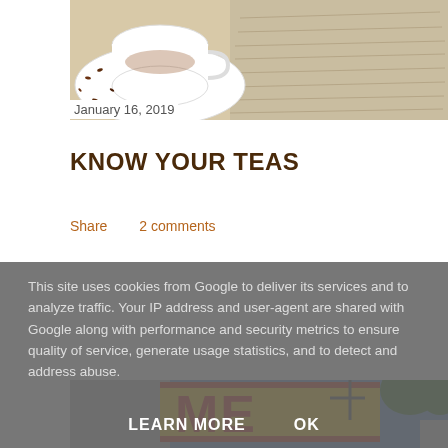[Figure (photo): Top portion of a photo showing a white cup with tea leaves spilled on a surface, with written text/notebook in background]
January 16, 2019
KNOW YOUR TEAS
Share   2 comments
[Figure (photo): Photo of a building sign with large red letters on yellow background reading 'ME...' against a blue sky with trees]
This site uses cookies from Google to deliver its services and to analyze traffic. Your IP address and user-agent are shared with Google along with performance and security metrics to ensure quality of service, generate usage statistics, and to detect and address abuse.
LEARN MORE   OK